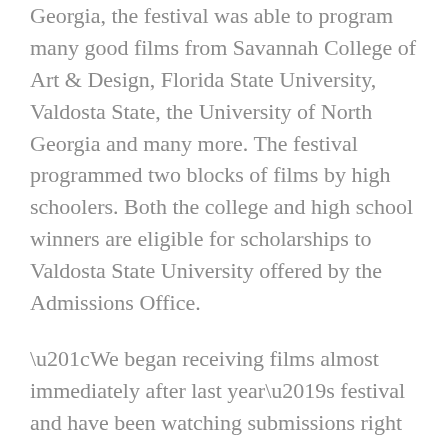Georgia, the festival was able to program many good films from Savannah College of Art & Design, Florida State University, Valdosta State, the University of North Georgia and many more. The festival programmed two blocks of films by high schoolers. Both the college and high school winners are eligible for scholarships to Valdosta State University offered by the Admissions Office.
“We began receiving films almost immediately after last year’s festival and have been watching submissions right up through our deadline,” Brown said. “When we realized the number of great films we received, we had to find a way to show as many as we could.”
Festival screenings will take place at the VSU Student Union Theater at the corner of Baytree and North Oak Street. The festival added the use of the Mass Media Screening room, on the corner of Patterson and Brookwood. Over the three days, visitors can park at both